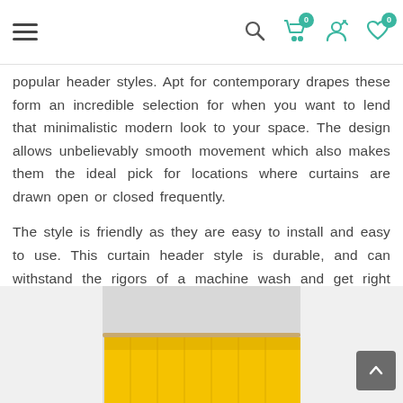Navigation header with hamburger menu, search, cart (0), user, and wishlist (0) icons
popular header styles. Apt for contemporary drapes these form an incredible selection for when you want to lend that minimalistic modern look to your space. The design allows unbelievably smooth movement which also makes them the ideal pick for locations where curtains are drawn open or closed frequently.
The style is friendly as they are easy to install and easy to use. This curtain header style is durable, and can withstand the rigors of a machine wash and get right back to business!
[Figure (photo): Photo of yellow rod pocket curtains hanging on a curtain rod against a light grey/white wall background]